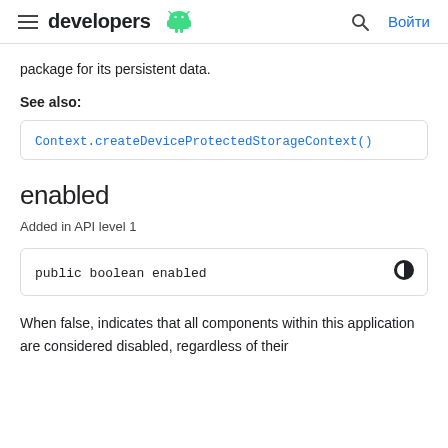developers
package for its persistent data.
See also:
Context.createDeviceProtectedStorageContext()
enabled
Added in API level 1
public boolean enabled
When false, indicates that all components within this application are considered disabled, regardless of their